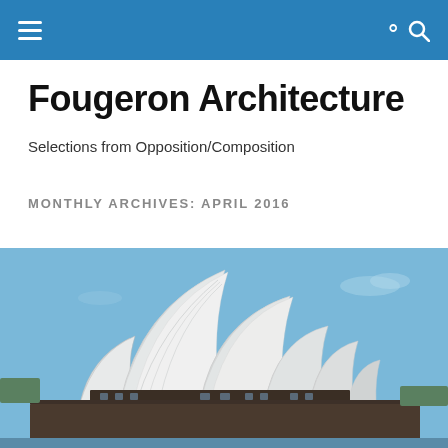Fougeron Architecture — navigation bar with hamburger menu and search icon
Fougeron Architecture
Selections from Opposition/Composition
MONTHLY ARCHIVES: APRIL 2016
[Figure (photo): Photograph of the Sydney Opera House with white shell-shaped roofs against a blue sky]